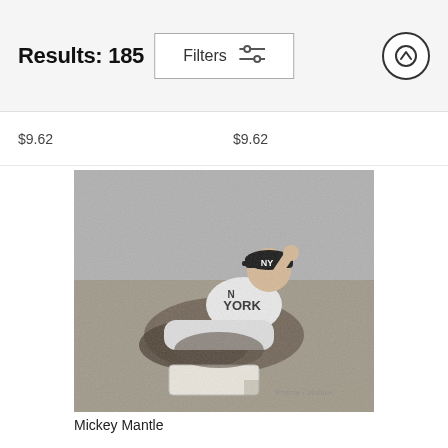Results: 185   Filters   ↑
$9.62   $9.62
[Figure (photo): Black and white photograph of Mickey Mantle in New York Yankees uniform sliding into base with a cloud of dirt/sand, wearing an NY cap, photographed from close ground level.]
Mickey Mantle